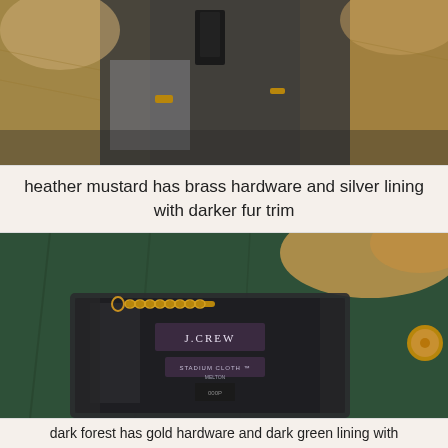[Figure (photo): Close-up photo of a heather mustard coat showing brass hardware, silver lining, and darker fur trim with a price tag visible]
heather mustard has brass hardware and silver lining with darker fur trim
[Figure (photo): Close-up photo of a dark forest green J.Crew Stadium Cloth coat showing the interior black lining with gold chain hardware and label tags visible]
dark forest has gold hardware and dark green lining with